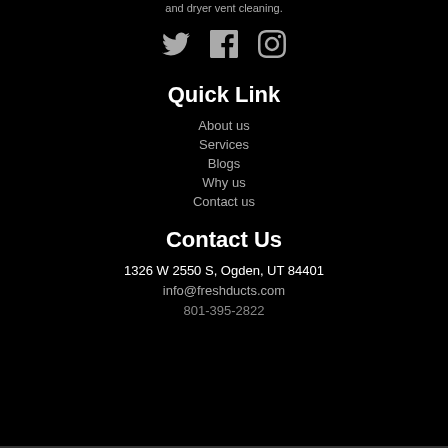and dryer vent cleaning.
[Figure (other): Social media icons: Twitter bird, Facebook f, Instagram camera]
Quick Link
About us
Services
Blogs
Why us
Contact us
Contact Us
1326 W 2550 S, Ogden, UT 84401
info@freshducts.com
801-395-2822